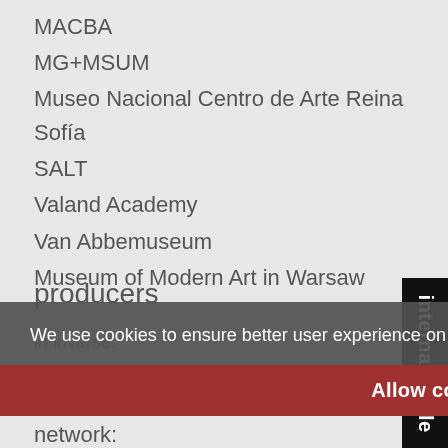MACBA
MG+MSUM
Museo Nacional Centro de Arte Reina Sofía
SALT
Valand Academy
Van Abbemuseum
Museum of Modern Art in Warsaw
producers
in inverse:
MG+MSUM
network:
We use cookies to ensure better user experience on our website. Cookie Policy
Allow cookies